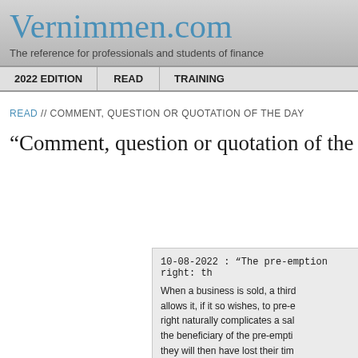Vernimmen.com
The reference for professionals and students of finance
2022 EDITION | READ | TRAINING
READ // COMMENT, QUESTION OR QUOTATION OF THE DAY
“Comment, question or quotation of the day”
10-08-2022 : “The pre-emption right: th
When a business is sold, a third... allows it, if it so wishes, to pre-e... right naturally complicates a sal... the beneficiary of the pre-empti... they will then have lost their tim... observed that this actually leads... right can be exercised at the m...